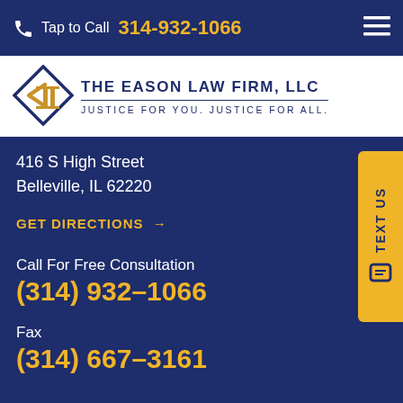Tap to Call 314-932-1066
[Figure (logo): The Eason Law Firm, LLC logo with diamond and pillar icon, text reading THE EASON LAW FIRM, LLC and tagline JUSTICE FOR YOU. JUSTICE FOR ALL.]
416 S High Street
Belleville, IL 62220
GET DIRECTIONS →
Call For Free Consultation
(314) 932-1066
Fax
(314) 667-3161